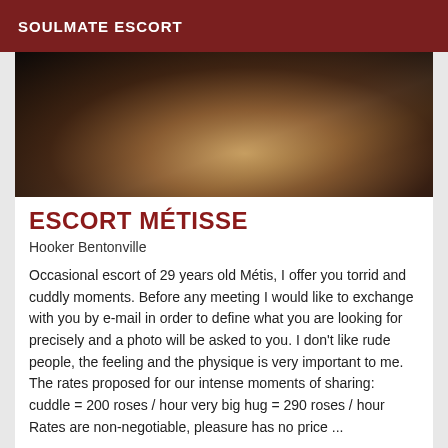SOULMATE ESCORT
[Figure (photo): Close-up photo of a person's head/hair, dark toned image shot from above]
ESCORT MÉTISSE
Hooker Bentonville
Occasional escort of 29 years old Métis, I offer you torrid and cuddly moments. Before any meeting I would like to exchange with you by e-mail in order to define what you are looking for precisely and a photo will be asked to you. I don't like rude people, the feeling and the physique is very important to me. The rates proposed for our intense moments of sharing: cuddle = 200 roses / hour very big hug = 290 roses / hour Rates are non-negotiable, pleasure has no price ...